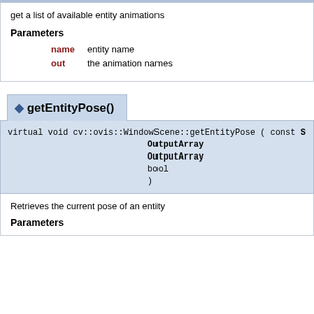get a list of available entity animations
Parameters
name   entity name
out    the animation names
◆ getEntityPose()
virtual void cv::ovis::WindowScene::getEntityPose ( const String &  OutputArray  OutputArray  bool  )
Retrieves the current pose of an entity
Parameters